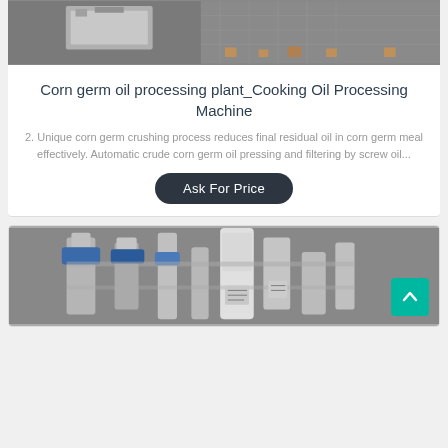[Figure (photo): Industrial machinery photo showing metallic processing equipment on a grid surface]
Corn germ oil processing plant_Cooking Oil Processing Machine
2. Unique corn germ crushing process reduces final residual oil in corn germ meal effectively. Automatic crude corn germ oil pressing and filtering by screw oil...
[Figure (other): Ask For Price button]
[Figure (photo): Industrial oil processing plant interior showing large cylindrical tanks and processing equipment]